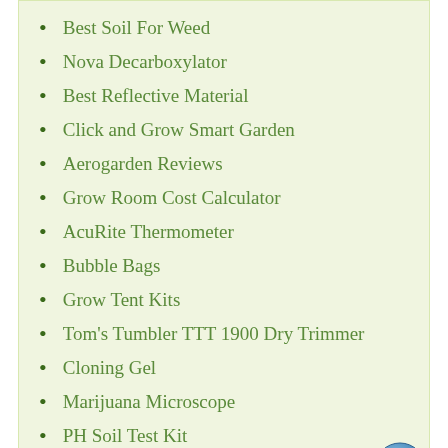Best Soil For Weed
Nova Decarboxylator
Best Reflective Material
Click and Grow Smart Garden
Aerogarden Reviews
Grow Room Cost Calculator
AcuRite Thermometer
Bubble Bags
Grow Tent Kits
Tom's Tumbler TTT 1900 Dry Trimmer
Cloning Gel
Marijuana Microscope
PH Soil Test Kit
Product Overview